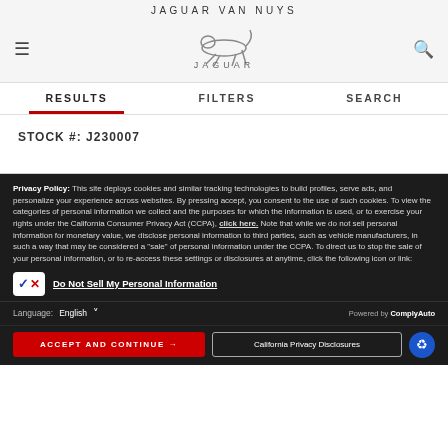JAGUAR VAN NUYS
[Figure (logo): Jaguar leaping cat logo with JAGUAR wordmark]
RESULTS   FILTERS   SEARCH
STOCK #: J230007
Privacy Policy: This site deploys cookies and similar tracking technologies to build profiles, serve ads, and personalize your experience across websites. By pressing accept, you consent to the use of such cookies. To view the categories of personal information we collect and the purposes for which the information is used, or to exercise your rights under the California Consumer Privacy Act (CCPA), click here. Note that while we do not sell personal information for monetary value, we disclose personal information to third parties, such as vehicle manufacturers, in such a way that may be considered a "sale" of personal information under the CCPA. To direct us to stop the sale of your personal information, or to re-access these settings or disclosures at anytime, click the following icon or link:
Do Not Sell My Personal Information
Language: English
Powered by ComplyAuto
ACCEPT AND CONTINUE →   California Privacy Disclosures